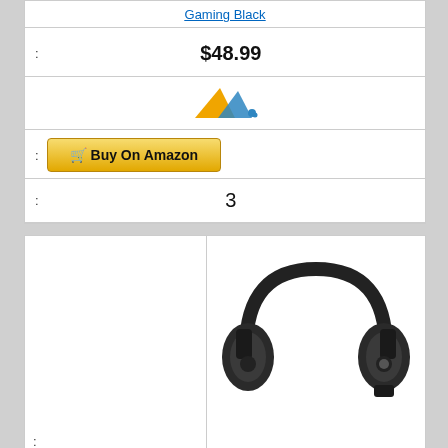Gaming Black
: $48.99
[Figure (logo): Amazon seller/affiliate logo - orange and blue triangle icon]
: Buy On Amazon
: 3
[Figure (photo): Black over-ear headphones (Soundcore or similar brand) on white background]
: